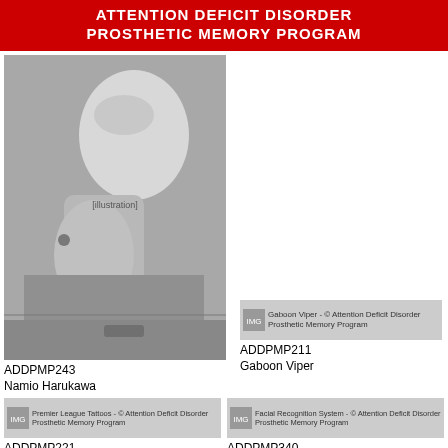ATTENTION DEFICIT DISORDER PROSTHETIC MEMORY PROGRAM
[Figure (illustration): Grayscale pencil illustration, ADDPMP243, Namio Harukawa]
ADDPMP243
Namio Harukawa
[Figure (illustration): Small thumbnail image for Gaboon Viper - Attention Deficit Disorder Prosthetic Memory Program]
ADDPMP211
Gaboon Viper
[Figure (illustration): Small thumbnail image for Premier League Tattoos - Attention Deficit Disorder Prosthetic Memory Program]
ADDPMP221
Premier League Tattoos
[Figure (illustration): Small thumbnail image for Facial Recognition System - Attention Deficit Disorder Prosthetic Memory Program]
ADDPMP340
Facial Recognition System
[Figure (illustration): Small thumbnail image for Sirius (1977) - Attention Deficit Disorder Prosthetic Memory Program]
ADDPMP024
Sirius (1977)
[Figure (illustration): Small thumbnail image for Aircraft Camouflage - Attention Deficit Disorder Prosthetic Memory Program]
ADDPMP595
Aircraft Camouflage